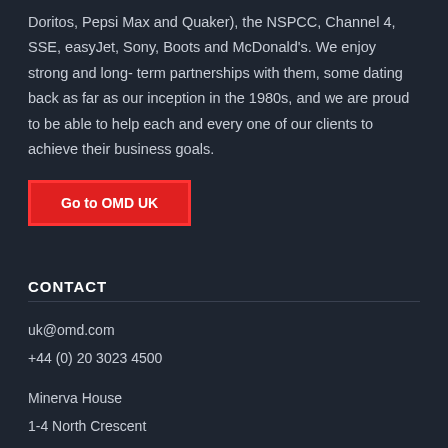Doritos, Pepsi Max and Quaker), the NSPCC, Channel 4, SSE, easyJet, Sony, Boots and McDonald's. We enjoy strong and long-term partnerships with them, some dating back as far as our inception in the 1980s, and we are proud to be able to help each and every one of our clients to achieve their business goals.
Go to OMD UK
CONTACT
uk@omd.com
+44 (0) 20 3023 4500
Minerva House
1-4 North Crescent
Chenies Street
London WC1E 7ER
United Kingdom